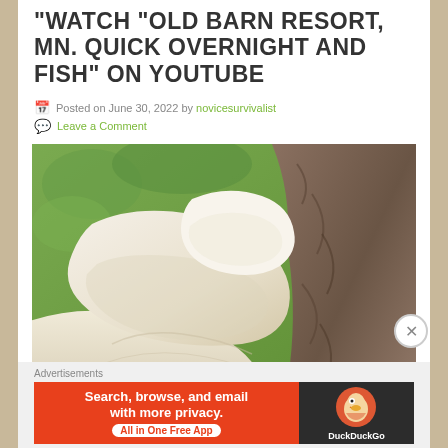WATCH "OLD BARN RESORT, MN. QUICK OVERNIGHT AND FISH" ON YOUTUBE
Posted on June 30, 2022 by novicesurvivalist
Leave a Comment
[Figure (photo): Close-up photo of white oyster mushrooms growing at the base of a tree with rough bark, green foliage visible in background]
Advertisements
[Figure (screenshot): DuckDuckGo advertisement banner: orange left section with text 'Search, browse, and email with more privacy. All in One Free App', dark right section with DuckDuckGo logo]